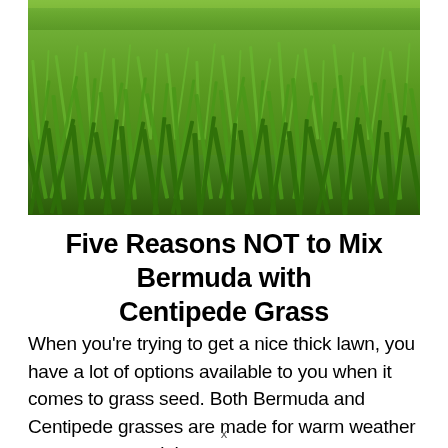[Figure (photo): Close-up photograph of thick green grass lawn, shot from a low angle showing lush blades of grass with depth of field, vibrant green color]
Five Reasons NOT to Mix Bermuda with Centipede Grass
When you're trying to get a nice thick lawn, you have a lot of options available to you when it comes to grass seed. Both Bermuda and Centipede grasses are made for warm weather areas, so you might
x